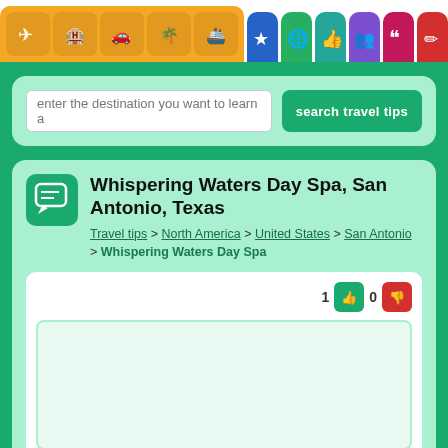[Figure (screenshot): Navigation bar with colored icon buttons: orange group (flight, hotel, car, beach, ship icons), blue star, green globe, teal thumbs-up, purple group, pink quotation, red pencil]
enter the destination you want to learn a
search travel tips
Whispering Waters Day Spa, San Antonio, Texas
Travel tips > North America > United States > San Antonio > Whispering Waters Day Spa
1  0